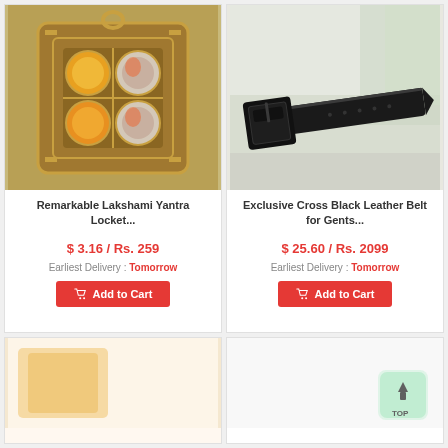[Figure (photo): Remarkable Lakshami Yantra Locket - gold-toned square pendant with four circular colored stones]
Remarkable Lakshami Yantra Locket...
$ 3.16 / Rs. 259
Earliest Delivery : Tomorrow
Add to Cart
[Figure (photo): Exclusive Cross Black Leather Belt for Gents - black leather belt with rectangular buckle on white background]
Exclusive Cross Black Leather Belt for Gents...
$ 25.60 / Rs. 2099
Earliest Delivery : Tomorrow
Add to Cart
[Figure (photo): Partial product visible at bottom-left, orange background]
[Figure (photo): Partial product visible at bottom-right with back-to-top button overlay]